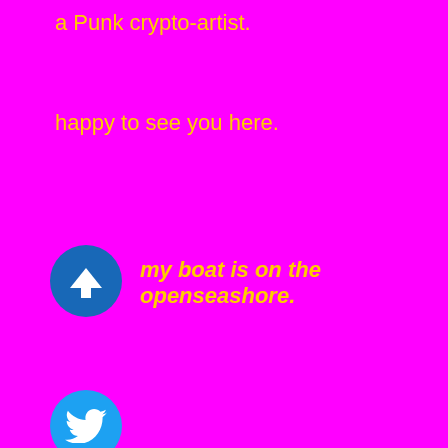a Punk crypto-artist.
happy to see you here.
[Figure (logo): Twitter bird logo in white on a cyan/blue circular background]
[Figure (logo): OpenSea sailboat logo in white on a blue circular background]
my boat is on the openseashore.